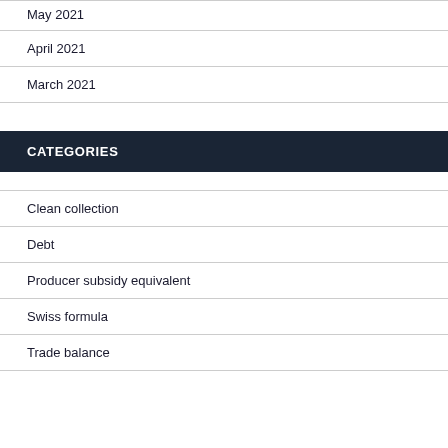May 2021
April 2021
March 2021
CATEGORIES
Clean collection
Debt
Producer subsidy equivalent
Swiss formula
Trade balance